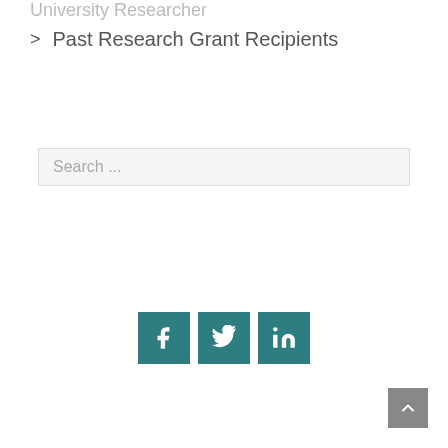University Researcher
> Past Research Grant Recipients
Search ...
[Figure (infographic): Three social media icon buttons: Facebook (f), Twitter (bird), LinkedIn (in), all in teal/dark cyan color]
[Figure (infographic): Scroll to top button with upward chevron arrow, dark gray background, bottom right corner]